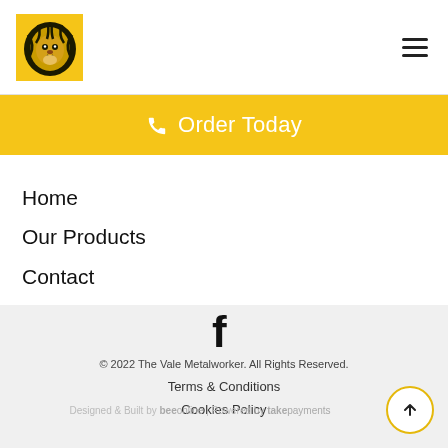[Figure (logo): Lion head logo inside a yellow square box for The Vale Metalworker]
[Figure (illustration): Hamburger menu icon (three horizontal lines)]
Order Today
Home
Our Products
Contact
[Figure (illustration): Facebook social media icon (letter f)]
© 2022 The Vale Metalworker. All Rights Reserved.
Terms & Conditions
Cookies Policy
Designed & Built by beeonline | Powered by takepayments